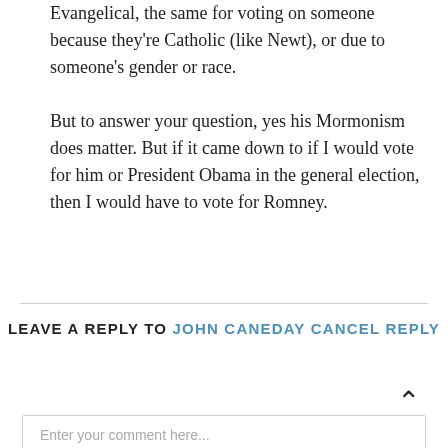Evangelical, the same for voting on someone because they're Catholic (like Newt), or due to someone's gender or race.
But to answer your question, yes his Mormonism does matter. But if it came down to if I would vote for him or President Obama in the general election, then I would have to vote for Romney.
LEAVE A REPLY TO JOHN CANEDAY CANCEL REPLY
Enter your comment here...